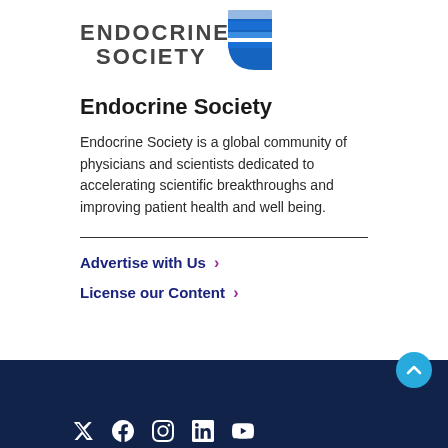[Figure (logo): Endocrine Society logo with text and blue square graphic]
Endocrine Society
Endocrine Society is a global community of physicians and scientists dedicated to accelerating scientific breakthroughs and improving patient health and well being.
Advertise with Us ›
License our Content ›
Social media icons: Twitter/X, Facebook, Instagram, LinkedIn, YouTube